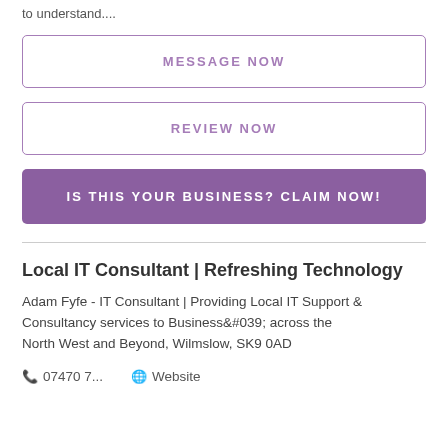to understand....
MESSAGE NOW
REVIEW NOW
IS THIS YOUR BUSINESS? CLAIM NOW!
Local IT Consultant | Refreshing Technology
Adam Fyfe - IT Consultant | Providing Local IT Support & Consultancy services to Business&#039; across the North West and Beyond, Wilmslow, SK9 0AD
07470 7...  Website